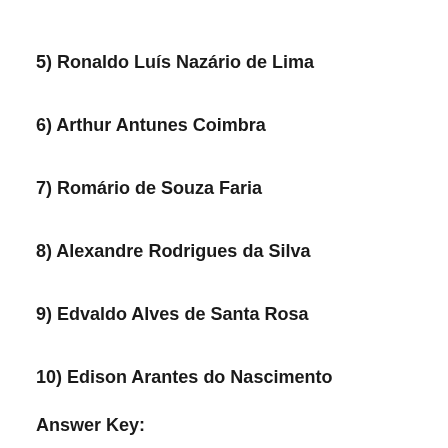5) Ronaldo Luís Nazário de Lima
6) Arthur Antunes Coimbra
7) Romário de Souza Faria
8) Alexandre Rodrigues da Silva
9) Edvaldo Alves de Santa Rosa
10) Edison Arantes do Nascimento
Answer Key: